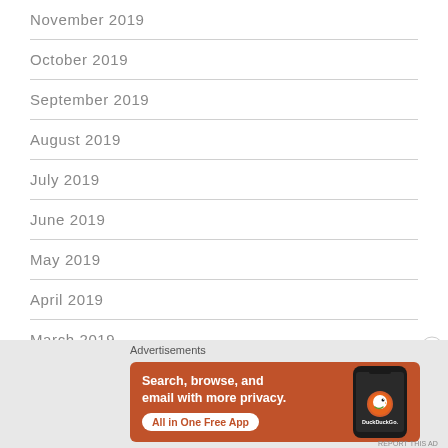November 2019
October 2019
September 2019
August 2019
July 2019
June 2019
May 2019
April 2019
March 2019
[Figure (other): DuckDuckGo advertisement banner. Orange background with text 'Search, browse, and email with more privacy. All in One Free App' and a phone showing DuckDuckGo app.]